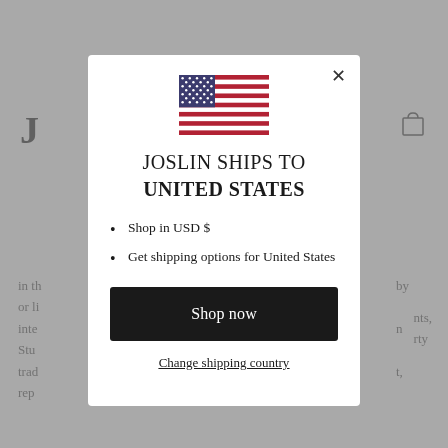[Figure (screenshot): Modal dialog on a website showing a US flag, shipping destination message, currency options, and shop now button]
JOSLIN SHIPS TO UNITED STATES
Shop in USD $
Get shipping options for United States
Shop now
Change shipping country